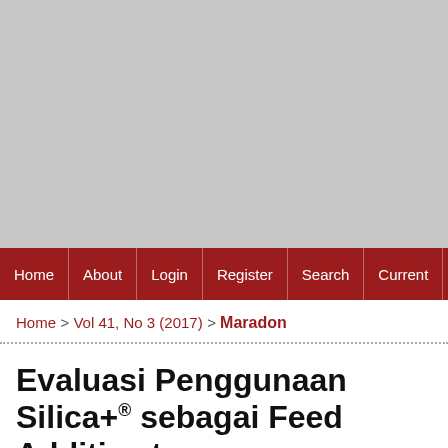[Figure (other): Gray banner area at top of webpage screenshot]
Home | About | Login | Register | Search | Current | A
Home > Vol 41, No 3 (2017) > Maradon
Evaluasi Penggunaan Silica+® sebagai Feed Additive to...